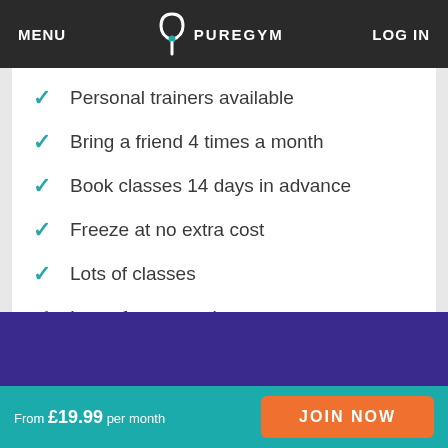MENU | PUREGYM | LOG IN
Personal trainers available
Bring a friend 4 times a month
Book classes 14 days in advance
Freeze at no extra cost
Lots of classes
Lots of great equipment
Multi gym access
From £19.99 per month  JOIN NOW